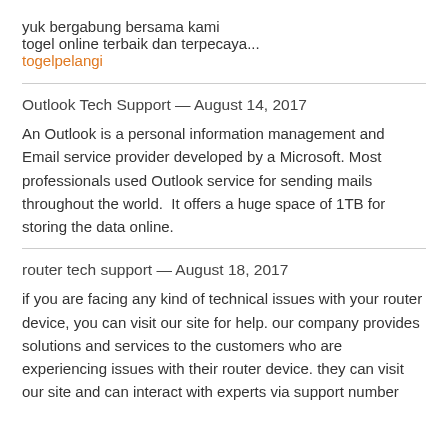yuk bergabung bersama kami
togel online terbaik dan terpecaya...
togelpelangi
Outlook Tech Support — August 14, 2017
An Outlook is a personal information management and Email service provider developed by a Microsoft. Most professionals used Outlook service for sending mails throughout the world.  It offers a huge space of 1TB for storing the data online.
router tech support — August 18, 2017
if you are facing any kind of technical issues with your router device, you can visit our site for help. our company provides solutions and services to the customers who are experiencing issues with their router device. they can visit our site and can interact with experts via support number